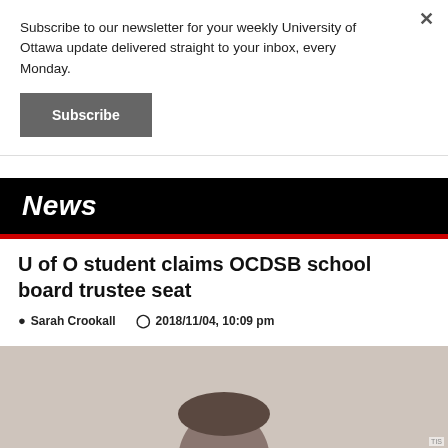Subscribe to our newsletter for your weekly University of Ottawa update delivered straight to your inbox, every Monday.
Subscribe
News
U of O student claims OCDSB school board trustee seat
Sarah Crookall   2018/11/04, 10:09 pm
[Figure (photo): Portrait photo of a person with dark hair against a light grey background]